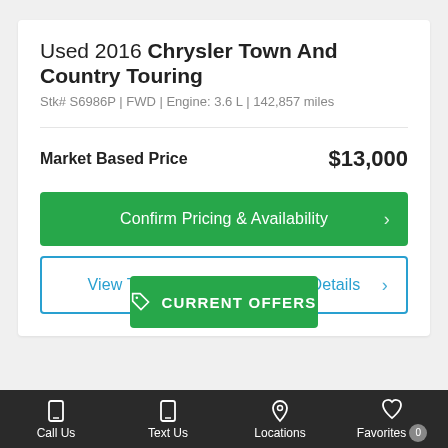Used 2016 Chrysler Town And Country Touring
Stk# S6986P | FWD | Engine: 3.6 L | 142,857 miles
Market Based Price  $13,000
Confirm Pricing & Availability
View This Town And Country's Details
CURRENT OFFERS
Call Us   Text Us   Locations   Favorites 0